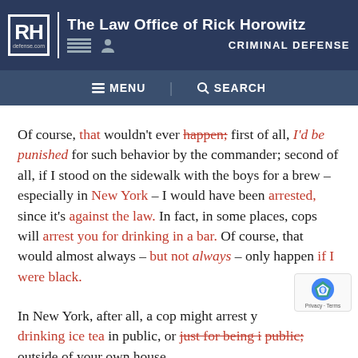[Figure (logo): The Law Office of Rick Horowitz Criminal Defense logo with RH initials in a box, navigation bar icons, and defense.com text]
☰ MENU  🔍 SEARCH
Of course, that wouldn't ever happen; first of all, I'd be punished for such behavior by the commander; second of all, if I stood on the sidewalk with the boys for a brew – especially in New York – I would have been arrested, since it's against the law. In fact, in some places, cops will arrest you for drinking in a bar. Of course, that would almost always – but not always – only happen if I were black.
In New York, after all, a cop might arrest you for drinking ice tea in public, or just for being in public, outside of your own house.